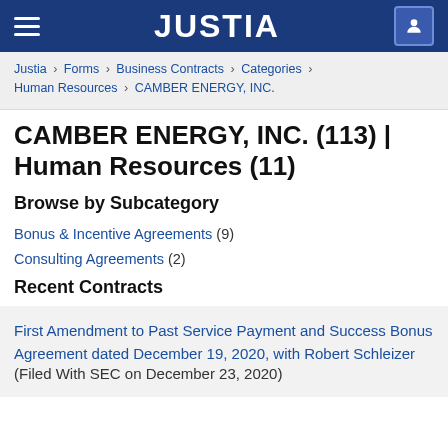JUSTIA
Justia › Forms › Business Contracts › Categories › Human Resources › CAMBER ENERGY, INC.
CAMBER ENERGY, INC. (113) | Human Resources (11)
Browse by Subcategory
Bonus & Incentive Agreements (9)
Consulting Agreements (2)
Recent Contracts
First Amendment to Past Service Payment and Success Bonus Agreement dated December 19, 2020, with Robert Schleizer (Filed With SEC on December 23, 2020)